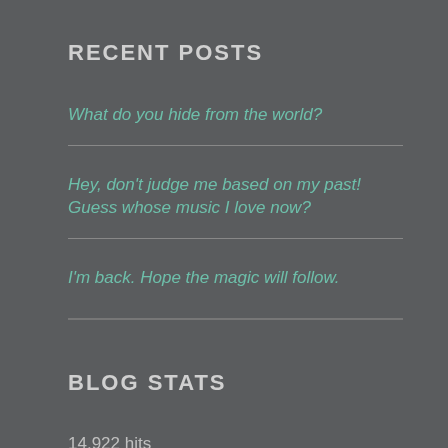RECENT POSTS
What do you hide from the world?
Hey, don't judge me based on my past! Guess whose music I love now?
I'm back. Hope the magic will follow.
BLOG STATS
14,922 hits